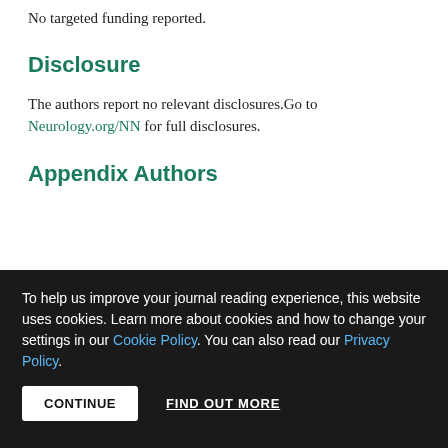No targeted funding reported.
Disclosure
The authors report no relevant disclosures.Go to Neurology.org/NN for full disclosures.
Appendix Authors
To help us improve your journal reading experience, this website uses cookies. Learn more about cookies and how to change your settings in our Cookie Policy. You can also read our Privacy Policy.
CONTINUE  FIND OUT MORE